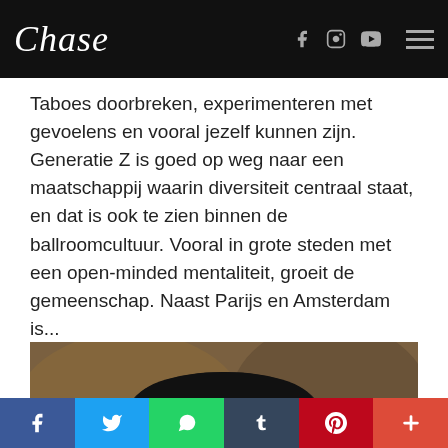Chase
Taboes doorbreken, experimenteren met gevoelens en vooral jezelf kunnen zijn. Generatie Z is goed op weg naar een maatschappij waarin diversiteit centraal staat, en dat is ook te zien binnen de ballroomcultuur. Vooral in grote steden met een open-minded mentaliteit, groeit de gemeenschap. Naast Parijs en Amsterdam is...
[Figure (photo): Person wearing a black beret hat and holding a black camera up to their face, blurred background]
Social share bar: Facebook, Twitter, WhatsApp, Tumblr, Pinterest, More